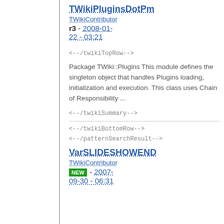TWikiPluginsDotPm
TWikiContributor
r3 - 2008-01-22 - 03:21
<--/twikiTopRow-->
Package TWiki::Plugins This module defines the singleton object that handles Plugins loading, initialization and execution. This class uses Chain of Responsibility ...
<--/twikiSummary-->
<--/twikiBottomRow-->
<--/patternSearchResult-->
VarSLIDESHOWEND
TWikiContributor
NEW - 2007-09-30 - 06:31